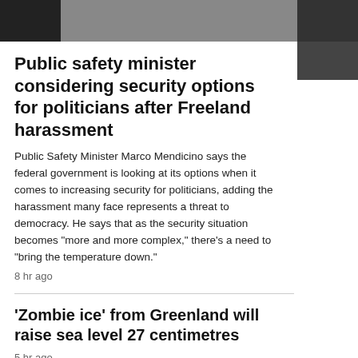[Figure (photo): Partial photo of a person at the top of the page, dark-toned image]
Public safety minister considering security options for politicians after Freeland harassment
Public Safety Minister Marco Mendicino says the federal government is looking at its options when it comes to increasing security for politicians, adding the harassment many face represents a threat to democracy. He says that as the security situation becomes “more and more complex,” there’s a need to “bring the temperature down.”
8 hr ago
'Zombie ice' from Greenland will raise sea level 27 centimetres
5 hr ago
Diana's last moments: French medic recalls